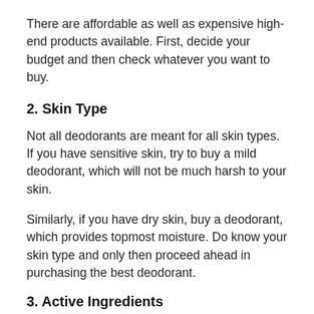There are affordable as well as expensive high-end products available. First, decide your budget and then check whatever you want to buy.
2. Skin Type
Not all deodorants are meant for all skin types. If you have sensitive skin, try to buy a mild deodorant, which will not be much harsh to your skin.
Similarly, if you have dry skin, buy a deodorant, which provides topmost moisture. Do know your skin type and only then proceed ahead in purchasing the best deodorant.
3. Active Ingredients